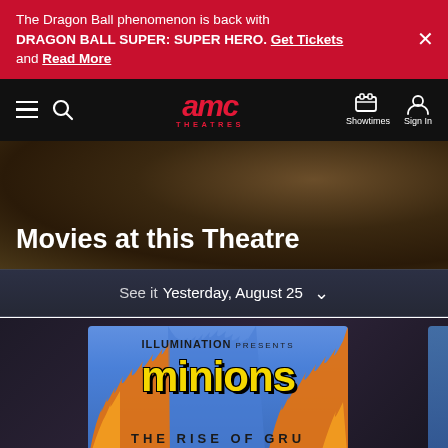The Dragon Ball phenomenon is back with DRAGON BALL SUPER: SUPER HERO. Get Tickets and Read More
[Figure (screenshot): AMC Theatres navigation bar with hamburger menu, search icon, AMC Theatres logo in red, Showtimes icon, and Sign In icon on black background]
Movies at this Theatre
See it Yesterday, August 25
[Figure (photo): Minions: The Rise of Gru movie poster showing ILLUMINATION PRESENTS Minions: The Rise of Gru title text on blue background with orange flames]